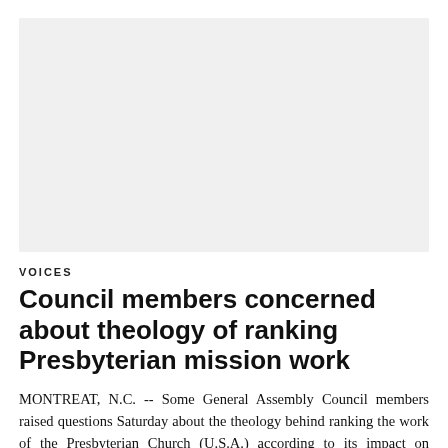[Figure (photo): Large image placeholder area, light gray background, no visible image content]
VOICES
Council members concerned about theology of ranking Presbyterian mission work
MONTREAT, N.C. -- Some General Assembly Council members raised questions Saturday about the theology behind ranking the work of the Presbyterian Church (U.S.A.) according to its impact on evangelism and discipleship -- with former General Assembly